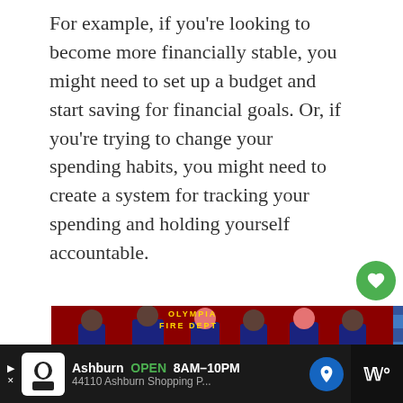For example, if you’re looking to become more financially stable, you might need to set up a budget and start saving for financial goals. Or, if you’re trying to change your spending habits, you might need to create a system for tracking your spending and holding yourself accountable.
[Figure (photo): Group of firefighters in dark uniforms standing in front of a red fire truck labeled OLYMPIA FIRE DEPT, holding various items. An American flag graphic overlays the right side.]
[Figure (infographic): WHAT'S NEXT panel with thumbnail image and text '12 Ways to Make Money...']
[Figure (screenshot): Advertisement bar at the bottom: Ashburn OPEN 8AM-10PM, 44110 Ashburn Shopping P...]